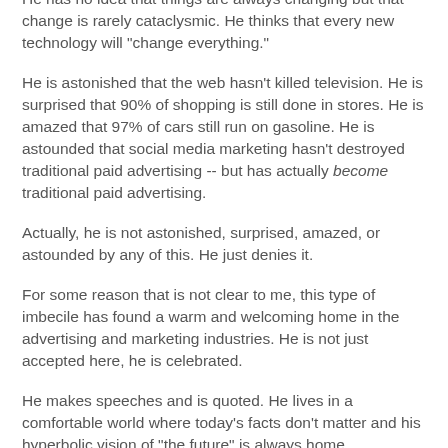He has no idea that things are always changing but that change is rarely cataclysmic. He thinks that every new technology will "change everything."
He is astonished that the web hasn't killed television. He is surprised that 90% of shopping is still done in stores. He is amazed that 97% of cars still run on gasoline. He is astounded that social media marketing hasn't destroyed traditional paid advertising -- but has actually become traditional paid advertising.
Actually, he is not astonished, surprised, amazed, or astounded by any of this. He just denies it.
For some reason that is not clear to me, this type of imbecile has found a warm and welcoming home in the advertising and marketing industries. He is not just accepted here, he is celebrated.
He makes speeches and is quoted. He lives in a comfortable world where today's facts don't matter and his hyperbolic vision of "the future" is always home.